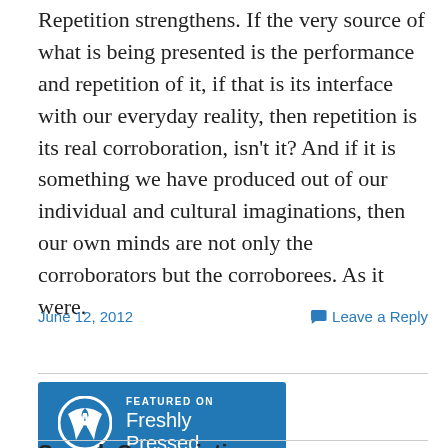Repetition strengthens. If the very source of what is being presented is the performance and repetition of it, if that is its interface with our everyday reality, then repetition is its real corroboration, isn't it? And if it is something we have produced out of our individual and cultural imaginations, then our own minds are not only the corroborators but the corroborees. As it were.
June 12, 2012    Leave a Reply
[Figure (logo): WordPress 'Featured on Freshly Pressed' badge with blue background, WordPress logo on left, text 'FEATURED ON Freshly Pressed' on right in white.]
Search Seasonistics